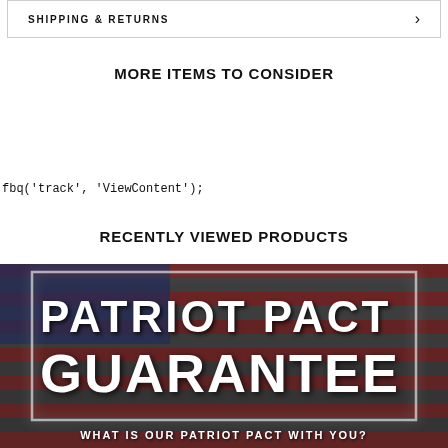SHIPPING & RETURNS
MORE ITEMS TO CONSIDER
fbq('track', 'ViewContent');
RECENTLY VIEWED PRODUCTS
[Figure (illustration): Patriot Pact Guarantee banner with American flag background. Large bold white text reads 'PATRIOT PACT GUARANTEE'. Bottom text: 'WHAT IS OUR PATRIOT PACT WITH YOU?']